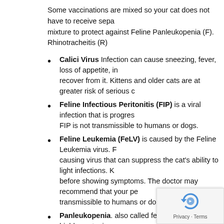Some vaccinations are mixed so your cat does not have to receive separate shots. Vets use a mixture to protect against Feline Panleukopenia (F). Rhinotracheitis (R)
Calici Virus Infection can cause sneezing, fever, loss of appetite, in recover from it. Kittens and older cats are at greater risk of serious c
Feline Infectious Peritonitis (FIP) is a viral infection that is progres FIP is not transmissible to humans or dogs.
Feline Leukemia (FeLV) is caused by the Feline Leukemia virus. F causing virus that can suppress the cat's ability to light infections. K before showing symptoms. The doctor may recommend that your pe transmissible to humans or dogs.
Panleukopenia. also called feline distemper, is a highly contagious appetite, vomiting, diarrhea, high fever, and depression. This diseas
Pneumonitis in cats is caused by Chlamydia psittaci. Symptoms ar can be spread from cats to humans.
Rabies is caused by a virus that attacks the brain. It is prevalent in to humans and pets by the bites of an infected animal.
Rhinotracheitis is like the common cold in people, but appetite, inflammation around the eyes and ulcers in th